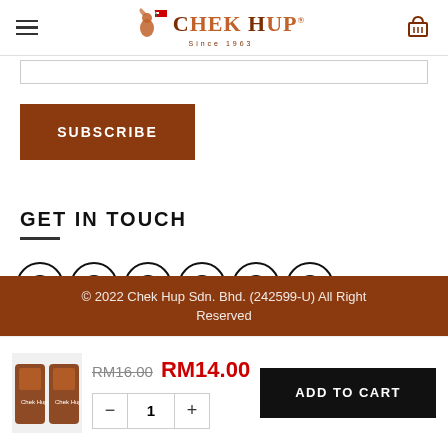Chek Hup — navigation header with logo
[Figure (screenshot): Search input bar]
[Figure (screenshot): Subscribe button with brown background]
GET IN TOUCH
[Figure (infographic): Social media icons: Facebook, Instagram, Twitter, Email, LinkedIn, YouTube]
© 2022 Chek Hup Sdn. Bhd. (242599-U) All Right Reserved
[Figure (screenshot): Product bar with image, price RM16.00 struck through, RM14.00 in red, quantity selector, Add to Cart button]